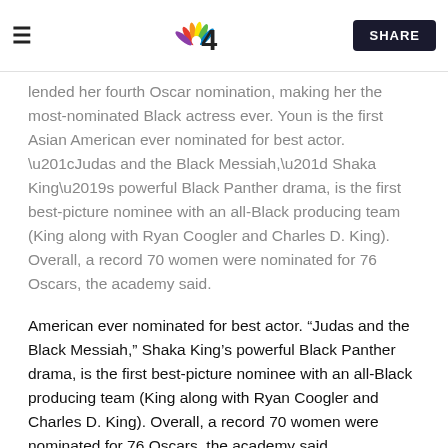NBC 4 News | SHARE
lended her fourth Oscar nomination, making her the most-nominated Black actress ever. Youn is the first Asian American ever nominated for best actor. “Judas and the Black Messiah,” Shaka King’s powerful Black Panther drama, is the first best-picture nominee with an all-Black producing team (King along with Ryan Coogler and Charles D. King). Overall, a record 70 women were nominated for 76 Oscars, the academy said.
The other nominees for best actress are: Carey Mulligan (“Promising Young Woman”); Frances McDormand (“Nomadland”); Vanessa Kirby (“Pieces of a Woman”). The remaining nominee for best actor is Anthony Hopkins for the dementia drama “The Father.”
With moviegoing nearly snuffed out by the coronavirus, the best-picture nominees had hardly any box office to speak of.